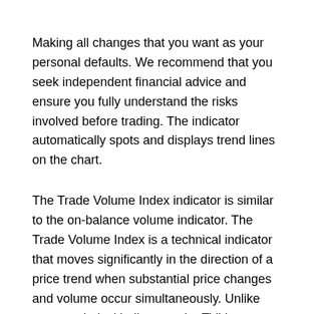Making all changes that you want as your personal defaults. We recommend that you seek independent financial advice and ensure you fully understand the risks involved before trading. The indicator automatically spots and displays trend lines on the chart.
The Trade Volume Index indicator is similar to the on-balance volume indicator. The Trade Volume Index is a technical indicator that moves significantly in the direction of a price trend when substantial price changes and volume occur simultaneously. Unlike many technical indicators, the TVI is generally created using intraday price data. With over 50+ years of combined trading experience, Trading Strategy